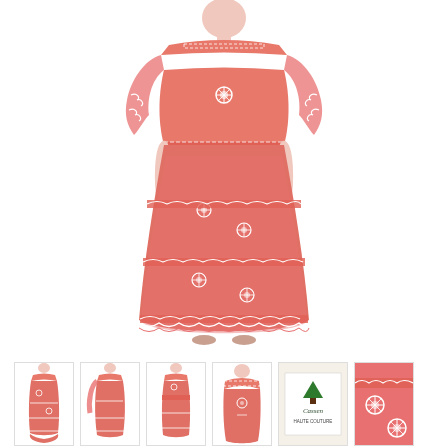[Figure (photo): A model wearing a coral/salmon-colored sheer long formal gown with white floral embroidery and beading, tiered ruffles at the hem, long sheer sleeves with ruffles, and a fitted bodice. The dress is floor-length and the model stands against a white background.]
[Figure (photo): Six thumbnail images of the same coral dress shown from different angles, plus a close-up of the brand label reading 'Cassen' and a detail shot of the embroidery.]